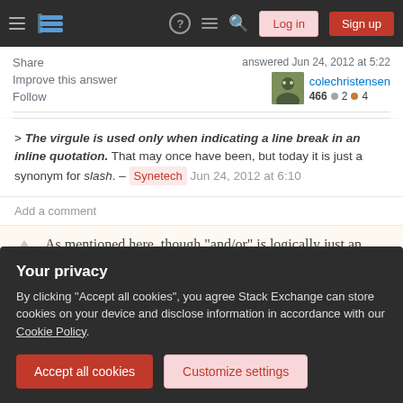Stack Exchange navigation bar with hamburger menu, logo, help, chat, search, Log in, Sign up
Share
Improve this answer
Follow
answered Jun 24, 2012 at 5:22
colechristensen
466  2  4
> The virgule is used only when indicating a line break in an inline quotation. That may once have been, but today it is just a synonym for slash. – Synetech  Jun 24, 2012 at 6:10
Add a comment
As mentioned here, though "and/or" is logically just an
Your privacy
By clicking "Accept all cookies", you agree Stack Exchange can store cookies on your device and disclose information in accordance with our Cookie Policy.
Accept all cookies
Customize settings